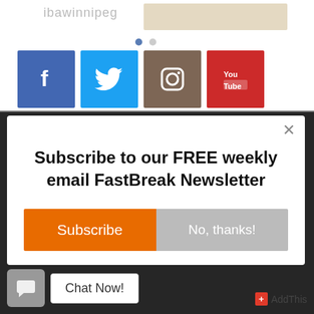ibawinnipeg
[Figure (screenshot): Social media follower counts: Facebook 10.1K, Twitter 5.3K, Instagram 11K, YouTube 33.3K]
Subscribe to our FREE weekly email FastBreak Newsletter
Subscribe
No, thanks!
Chat Now!
AddThis